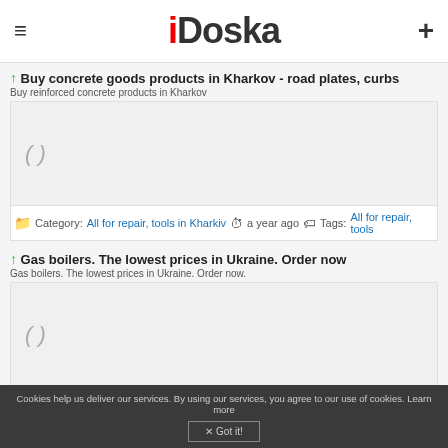iDoska
↑ Buy concrete goods products in Kharkov - road plates, curbs
Buy reinforced concrete products in Kharkov
[Figure (photo): Placeholder image for concrete goods listing]
Category: All for repair, tools in Kharkiv   a year ago   Tags: All for repair, tools
↑ Gas boilers. The lowest prices in Ukraine. Order now
Gas boilers. The lowest prices in Ukraine. Order now.
[Figure (photo): Placeholder image for gas boilers listing]
Category: All for repair, tools in L'viv   a year ago   Tags: All for repair, tools, gas, boilers, the, lowest, prices, ukraine, order, now
Cookies help us deliver our services. By using our services, you agree to our use of cookies. Learn more  Got it!